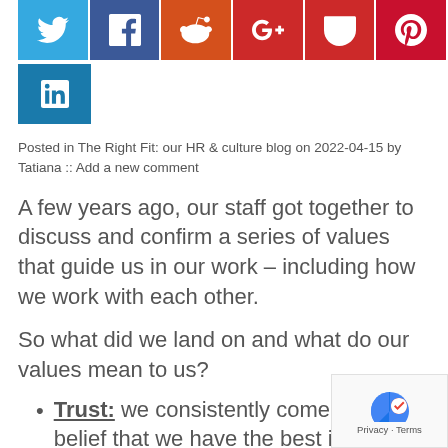[Figure (other): Row of social media share buttons: Twitter (blue), Facebook (dark blue), Reddit (orange), Google+ (red), Pocket (red), Pinterest (dark red)]
[Figure (other): LinkedIn share button (teal blue)]
Posted in The Right Fit: our HR & culture blog on 2022-04-15 by Tatiana :: Add a new comment
A few years ago, our staff got together to discuss and confirm a series of values that guide us in our work – including how we work with each other.
So what did we land on and what do our values mean to us?
Trust: we consistently come from a belief that we have the best interest of the organization and each other at the heart of everything that we do.